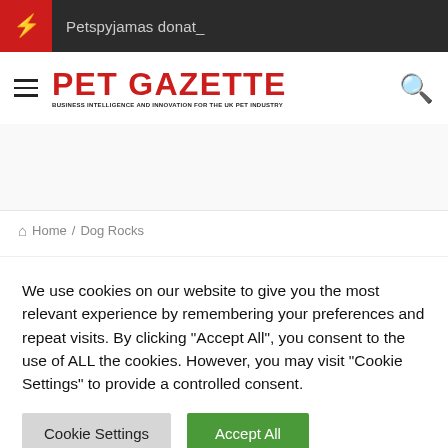Petspyjamas donat_
[Figure (logo): PET GAZETTE logo with tagline]
Home / Dog Rocks
Dog Rocks
We use cookies on our website to give you the most relevant experience by remembering your preferences and repeat visits. By clicking "Accept All", you consent to the use of ALL the cookies. However, you may visit "Cookie Settings" to provide a controlled consent.